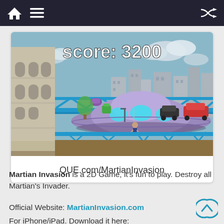Navigation bar with home, menu, and shuffle icons
[Figure (screenshot): Screenshot of Martian Invasion 2D game showing a UFO/flying saucer hovering over a bridge in a London-like cityscape. Score: 3200 displayed at top in white text. Blue bridge trusses, stone tower on left, city buildings in background, vehicles on bridge.]
QUE.com/MartianInvasion
Martian Invasion is a 2D Game, it's fun to play. Destroy all Martian's Invader.
Official Website: MartianInvasion.com
For iPhone/iPad. Download it here: